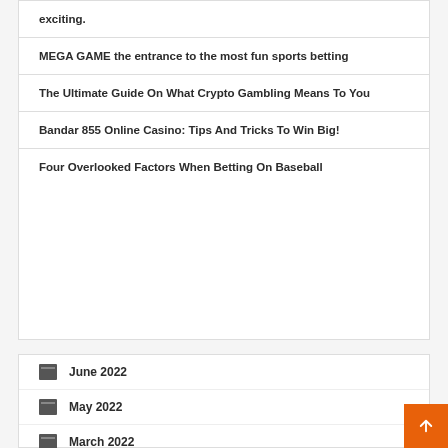exciting.
MEGA GAME the entrance to the most fun sports betting
The Ultimate Guide On What Crypto Gambling Means To You
Bandar 855 Online Casino: Tips And Tricks To Win Big!
Four Overlooked Factors When Betting On Baseball
June 2022
May 2022
March 2022